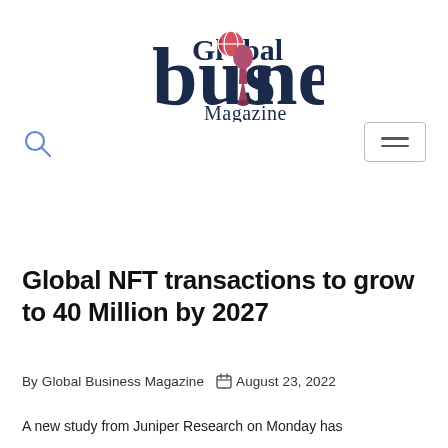[Figure (logo): Global Business Magazine logo with globe icon and trophy/pin icon replacing the 'i' in Business]
Global NFT transactions to grow to 40 Million by 2027
By Global Business Magazine  August 23, 2022
A new study from Juniper Research on Monday has